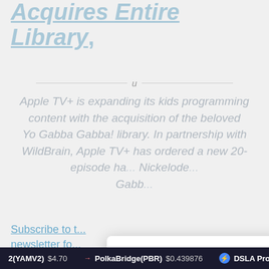Acquires Entire Library
Apple TV+ is expanding its kids programming content with the acquisition of the beloved Yo Gabba Gabba! library. In partnership with WildBrain, Apple TV+ has ordered a new 20-episode ha... Nickelode... Gabb...
Respecting your privacy is our priority
We use cookies on uomoelegante.it to give you an optimal experience. Happy surfing.
ACCEPT  SETTINGS
REJECT ALL
Subscribe to t... newsletter fo...
2(YAMV2) $4.70   PolkaBridge(PBR) $0.439876   DSLA Proto...